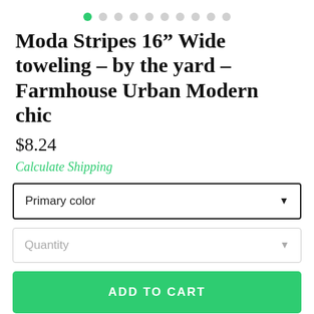[Figure (other): Pagination dots row with 10 dots, first dot green/active, rest gray]
Moda Stripes 16” Wide toweling – by the yard – Farmhouse Urban Modern chic
$8.24
Calculate Shipping
Primary color
Quantity
ADD TO CART